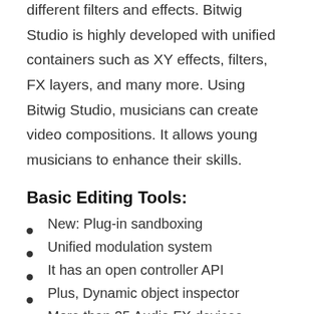different filters and effects. Bitwig Studio is highly developed with unified containers such as XY effects, filters, FX layers, and many more. Using Bitwig Studio, musicians can create video compositions. It allows young musicians to enhance their skills.
Basic Editing Tools:
New: Plug-in sandboxing
Unified modulation system
It has an open controller API
Plus, Dynamic object inspector
More than 25 Audio FX devices
Open multiple projects.